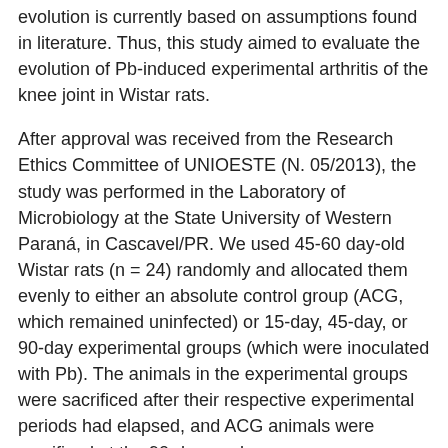evolution is currently based on assumptions found in literature. Thus, this study aimed to evaluate the evolution of Pb-induced experimental arthritis of the knee joint in Wistar rats.
After approval was received from the Research Ethics Committee of UNIOESTE (N. 05/2013), the study was performed in the Laboratory of Microbiology at the State University of Western Paraná, in Cascavel/PR. We used 45-60 day-old Wistar rats (n = 24) randomly and allocated them evenly to either an absolute control group (ACG, which remained uninfected) or 15-day, 45-day, or 90-day experimental groups (which were inoculated with Pb). The animals in the experimental groups were sacrificed after their respective experimental periods had elapsed, and ACG animals were sacrificed at the 90-day mark.
Induction of experimental arthritis took place as described by Loth et al.7. The animals were anesthetized with ketamine and xylazine, intraperitoneally (50 mg/kg and 10 mg/kg body weight). Each animal received a medial knee region inoculation using a Pb18 strain cell suspension (1×105 yeast